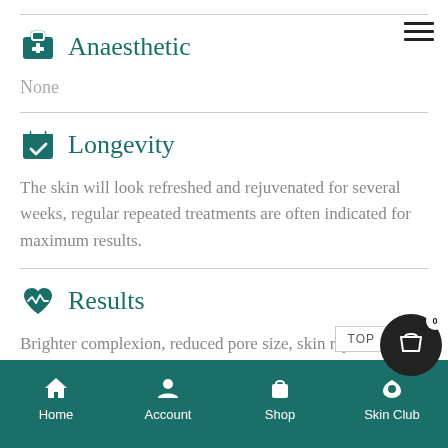Anaesthetic
None
Longevity
The skin will look refreshed and rejuvenated for several weeks, regular repeated treatments are often indicated for maximum results.
Results
Brighter complexion, reduced pore size, skin rejuvenation, reduces the appearance of
Home  Account  Shop  Skin Club